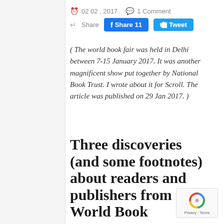02 02 , 2017   1 Comment
Share  Share 11  Tweet
( The world book fair was held in Delhi between 7-15 January 2017. It was another magnificent show put together by National Book Trust. I wrote about it for Scroll. The article was published on 29 Jan 2017. )
Three discoveries (and some footnotes) about readers and publishers from the World Book